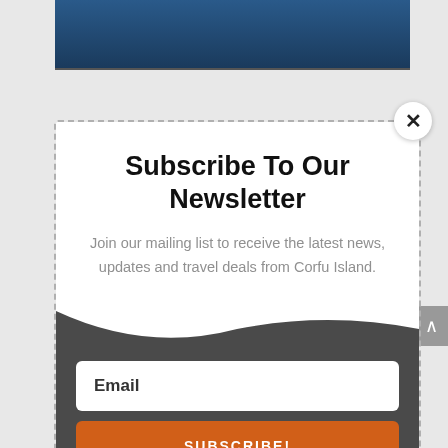[Figure (photo): Top portion of a photo showing a blue car, partially cropped]
Subscribe To Our Newsletter
Join our mailing list to receive the latest news, updates and travel deals from Corfu Island.
Email
SUBSCRIBE!
Leave a message